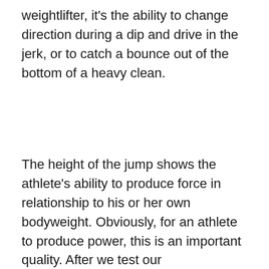weightlifter, it's the ability to change direction during a dip and drive in the jerk, or to catch a bounce out of the bottom of a heavy clean.
The height of the jump shows the athlete's ability to produce force in relationship to his or her own bodyweight. Obviously, for an athlete to produce power, this is an important quality. After we test our